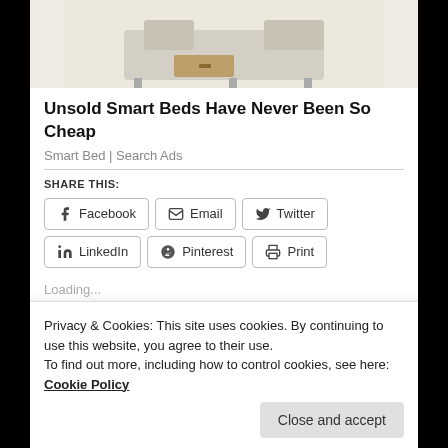[Figure (photo): Partial view of a beige/cream colored smart bed with storage drawer visible underneath, photographed on white background]
Unsold Smart Beds Have Never Been So Cheap
Smart Bed | Search Ads
SHARE THIS:
Facebook
Email
Twitter
LinkedIn
Pinterest
Print
Loading...
Privacy & Cookies: This site uses cookies. By continuing to use this website, you agree to their use.
To find out more, including how to control cookies, see here: Cookie Policy
Close and accept